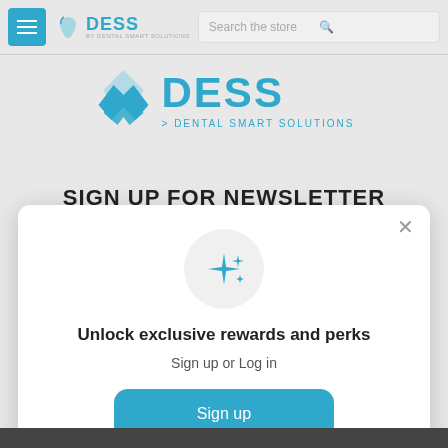[Figure (screenshot): DESS Dental Smart Solutions website navigation bar with hamburger menu, logo, and search bar]
[Figure (logo): DESS Dental Smart Solutions large centered logo with tooth icon and teal text]
SIGN UP FOR NEWSLETTER
[Figure (illustration): Popup modal with sparkle/star icon in gray circle, rewards signup prompt]
Unlock exclusive rewards and perks
Sign up or Log in
Sign up
Already have an account? Sign in